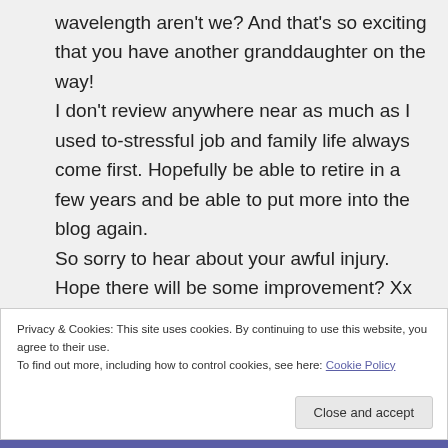wavelength aren't we? And that's so exciting that you have another granddaughter on the way! I don't review anywhere near as much as I used to-stressful job and family life always come first. Hopefully be able to retire in a few years and be able to put more into the blog again. So sorry to hear about your awful injury. Hope there will be some improvement? Xx
Privacy & Cookies: This site uses cookies. By continuing to use this website, you agree to their use. To find out more, including how to control cookies, see here: Cookie Policy